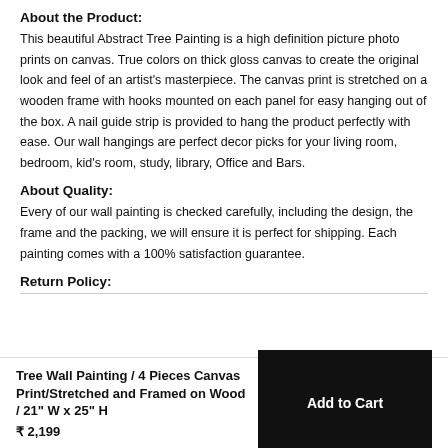About the Product:
This beautiful Abstract Tree Painting is a high definition picture photo prints on canvas. True colors on thick gloss canvas to create the original look and feel of an artist's masterpiece. The canvas print is stretched on a wooden frame with hooks mounted on each panel for easy hanging out of the box. A nail guide strip is provided to hang the product perfectly with ease. Our wall hangings are perfect decor picks for your living room, bedroom, kid's room, study, library, Office and Bars.
About Quality:
Every of our wall painting is checked carefully, including the design, the frame and the packing, we will ensure it is perfect for shipping. Each painting comes with a 100% satisfaction guarantee.
Return Policy:
Tree Wall Painting / 4 Pieces Canvas Print/Stretched and Framed on Wood / 21" W x 25" H
₹ 2,199